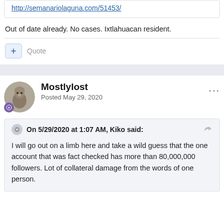http://semanariolaguna.com/51453/
Out of date already. No cases. Ixtlahuacan resident.
Quote
Mostlylost
Posted May 29, 2020
On 5/29/2020 at 1:07 AM, Kiko said:
I will go out on a limb here and take a wild guess that the one account that was fact checked has more than 80,000,000 followers.  Lot of collateral damage from the words of one person.